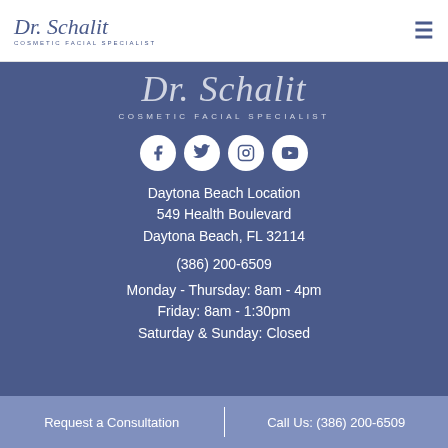Dr. Schalit COSMETIC FACIAL SPECIALIST
[Figure (logo): Dr. Schalit Cosmetic Facial Specialist logo in blue cursive script with subtitle]
[Figure (infographic): Four social media icons in white circles: Facebook, Twitter, Instagram, YouTube]
Daytona Beach Location
549 Health Boulevard
Daytona Beach, FL 32114
(386) 200-6509
Monday - Thursday: 8am - 4pm
Friday: 8am - 1:30pm
Saturday & Sunday: Closed
Request a Consultation | Call Us: (386) 200-6509